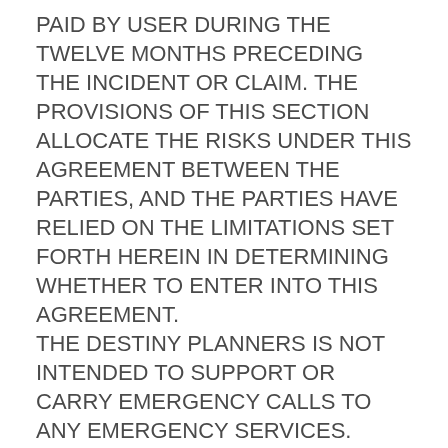PAID BY USER DURING THE TWELVE MONTHS PRECEDING THE INCIDENT OR CLAIM. THE PROVISIONS OF THIS SECTION ALLOCATE THE RISKS UNDER THIS AGREEMENT BETWEEN THE PARTIES, AND THE PARTIES HAVE RELIED ON THE LIMITATIONS SET FORTH HEREIN IN DETERMINING WHETHER TO ENTER INTO THIS AGREEMENT. THE DESTINY PLANNERS IS NOT INTENDED TO SUPPORT OR CARRY EMERGENCY CALLS TO ANY EMERGENCY SERVICES. NEITHER DESTINY PLANNERS NOR ITS REPRESENTATIVES WILL BE LIABLE UNDER ANY LEGAL OR EQUITABLE THEORY FOR ANY CLAIM, DAMAGE, OR LOSS (AND USER WILL HOLD DESTINY PLANNERS HARMLESS AGAINST ANY AND ALL SUCH CLAIMS)